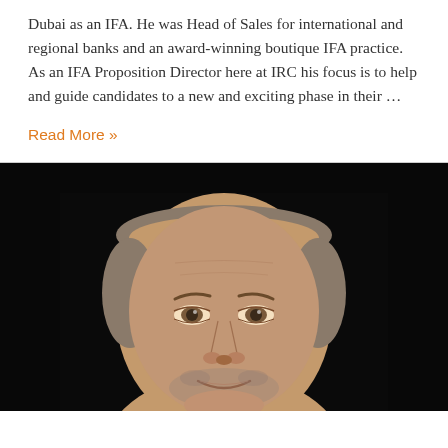Dubai as an IFA. He was Head of Sales for international and regional banks and an award-winning boutique IFA practice. As an IFA Proposition Director here at IRC his focus is to help and guide candidates to a new and exciting phase in their ...
Read More »
[Figure (photo): Portrait photograph of a middle-aged bald man with grey stubble, smiling slightly, against a dark/black background.]